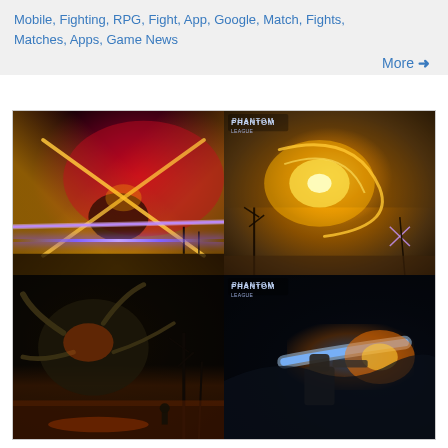Mobile, Fighting, RPG, Fight, App, Google, Match, Fights, Matches, Apps, Game News
[Figure (photo): A 2x2 grid of fantasy/RPG game screenshots showing dramatic battle scenes with energy effects. Top-left: dark battle scene with X-slash energy effects in red/purple tones. Top-right: desert landscape with golden energy swirl labeled 'Phantom' game logo. Bottom-left: dark swamp scene with a monster creature. Bottom-right: mech warrior with blue and orange energy blast effects, also labeled 'Phantom'.]